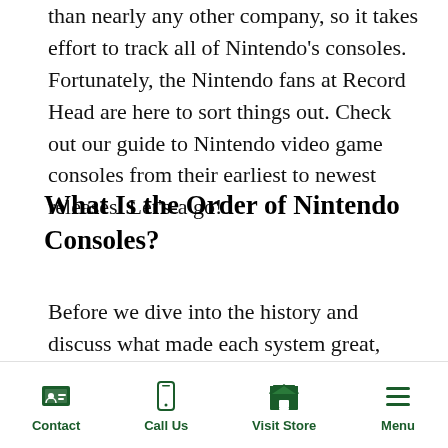than nearly any other company, so it takes effort to track all of Nintendo's consoles. Fortunately, the Nintendo fans at Record Head are here to sort things out. Check out our guide to Nintendo video game consoles from their earliest to newest releases. Let's-a go!
What Is the Order of Nintendo Consoles?
Before we dive into the history and discuss what made each system great, here's a list of each Nintendo console and handheld line in the order of their release:
[Figure (photo): Close-up of a gray Nintendo game cartridge or console hardware, showing a metallic gray plastic surface with a small Nintendo logo label in the center.]
Contact   Call Us   Visit Store   Menu